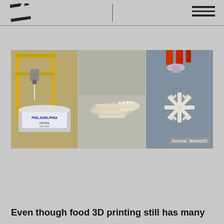Logo / Navigation header
[Figure (photo): Three-panel photo strip showing 3D food printing with cream cheese (Philadelphia brand): left panel shows a 3D printer extruding cream cheese from a Philadelphia Original Spreadable container; center panel shows a 3D-printed cream cheese shape resembling a crocodile or lizard on a metallic surface; right panel shows an intricate 3D-printed cream cheese snowflake design with decorative text pattern, with 'Source: Beets3D' label.]
Even though food 3D printing still has many